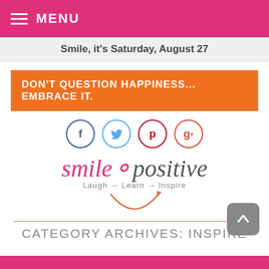MENU
Smile, it's Saturday, August 27
DON'T QUESTION HAPPINESS... EMBRACE IT.
[Figure (logo): Smile Positive logo with social media icons (Facebook, Twitter, Pinterest, Google+) and tagline Laugh-Learn-Inspire]
CATEGORY ARCHIVES: INSPIRE